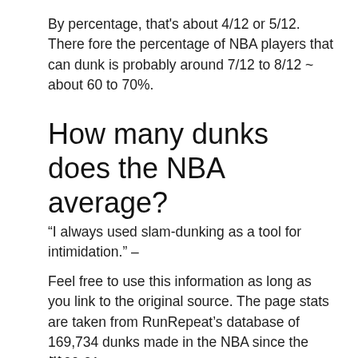By percentage, that's about 4/12 or 5/12. There fore the percentage of NBA players that can dunk is probably around 7/12 to 8/12 ~ about 60 to 70%.
How many dunks does the NBA average?
“I always used slam-dunking as a tool for intimidation.” –
Feel free to use this information as long as you link to the original source. The page stats are taken from RunRepeat’s database of 169,734 dunks made in the NBA since the 2000-01 season.
…